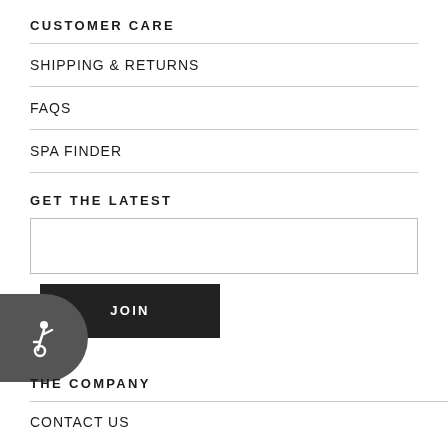CUSTOMER CARE
SHIPPING & RETURNS
FAQS
SPA FINDER
GET THE LATEST
[email input field]
JOIN
[Figure (illustration): Accessibility icon button: dark rounded circle with wheelchair accessibility symbol]
THE COMPANY
CONTACT US (partial)